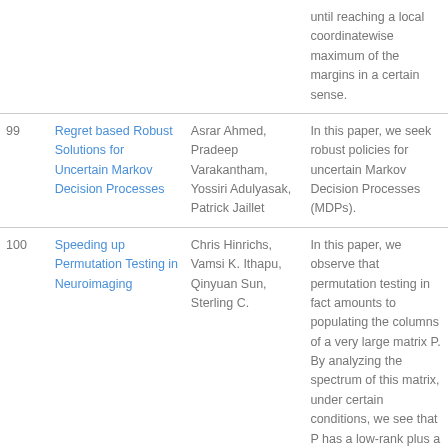| # | Title | Authors | Abstract |
| --- | --- | --- | --- |
|  |  |  | until reaching a local coordinatewise maximum of the margins in a certain sense. |
| 99 | Regret based Robust Solutions for Uncertain Markov Decision Processes | Asrar Ahmed, Pradeep Varakantham, Yossiri Adulyasak, Patrick Jaillet | In this paper, we seek robust policies for uncertain Markov Decision Processes (MDPs). |
| 100 | Speeding up Permutation Testing in Neuroimaging | Chris Hinrichs, Vamsi K. Ithapu, Qinyuan Sun, Sterling C. | In this paper, we observe that permutation testing in fact amounts to populating the columns of a very large matrix P. By analyzing the spectrum of this matrix, under certain conditions, we see that P has a low-rank plus a low-variance |